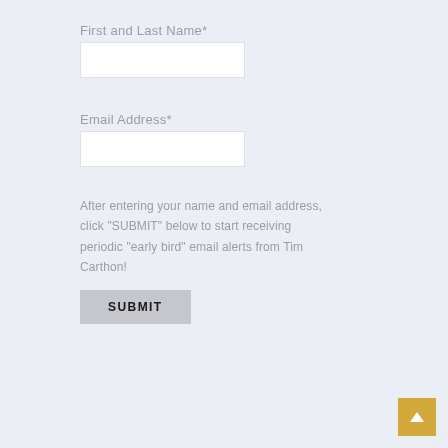First and Last Name*
[Figure (other): Empty text input field for First and Last Name]
Email Address*
[Figure (other): Empty text input field for Email Address]
After entering your name and email address, click "SUBMIT" below to start receiving periodic "early bird" email alerts from Tim Carthon!
[Figure (other): SUBMIT button]
[Figure (other): Back to top button with upward arrow, gold/amber color, bottom right corner]